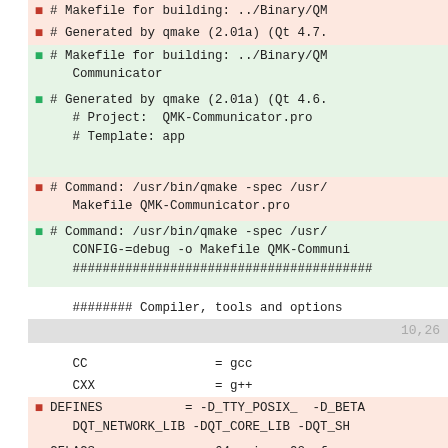# Makefile for building: ../Binary/QM...
# Generated by qmake (2.01a) (Qt 4.7....
# Makefile for building: ../Binary/QM...  Communicator
# Generated by qmake (2.01a) (Qt 4.6....  # Project:  QMK-Communicator.pro  # Template: app
# Command: /usr/bin/qmake -spec /usr/...  Makefile QMK-Communicator.pro
# Command: /usr/bin/qmake -spec /usr/...  CONFIG-=debug -o Makefile QMK-Communi...  ####################################...
######## Compiler, tools and options
10,26
CC                 = gcc
CXX                = g++
DEFINES            = -D_TTY_POSIX_  -D_BETA...  DQT_NETWORK_LIB -DQT_CORE_LIB -DQT_SH...
CFLAGS             = -m64 -pipe -O2 -fmess...  D_FORTIFY_SOURCE=2 -fstack-protector...  tables -Wall -W -D_REENTRANT $(DEFINE...
CXXFLAGS           = -m64 -pipe -O2 -fmess...  D_FORTIFY_SOURCE=2 -fstack-protector...